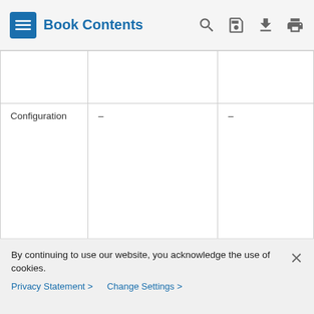Book Contents
|  |  |  |
| --- | --- | --- |
|  |  |  |
| Configuration | – | – |
By continuing to use our website, you acknowledge the use of cookies.
Privacy Statement > Change Settings >